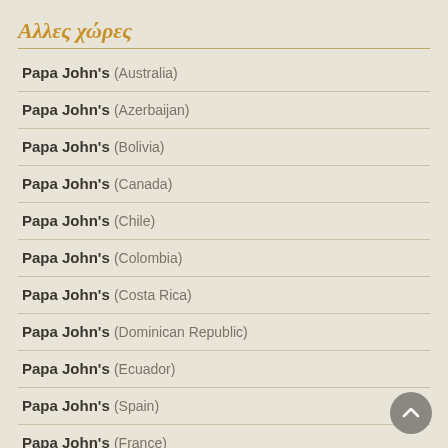Αλλες χώρες
Papa John's (Australia)
Papa John's (Azerbaijan)
Papa John's (Bolivia)
Papa John's (Canada)
Papa John's (Chile)
Papa John's (Colombia)
Papa John's (Costa Rica)
Papa John's (Dominican Republic)
Papa John's (Ecuador)
Papa John's (Spain)
Papa John's (France)
Papa John's (Guatemala)